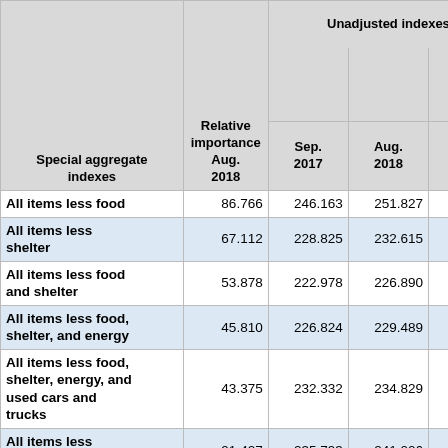| Special aggregate indexes | Relative importance Aug. 2018 | Sep. 2017 | Aug. 2018 | Sep. 2018 | Sep. 2017-Sep. 2018 |
| --- | --- | --- | --- | --- | --- |
| All items less food | 86.766 | 246.163 | 251.827 | 252.116 | 2.4 |
| All items less shelter | 67.112 | 228.825 | 232.615 | 232.868 | 1.8 |
| All items less food and shelter | 53.878 | 222.978 | 226.890 | 227.127 | 1.9 |
| All items less food, shelter, and energy | 45.810 | 226.824 | 229.489 | 229.910 | 1.4 |
| All items less food, shelter, energy, and used cars and trucks | 43.375 | 232.332 | 234.829 | 235.840 | 1.5 |
| All items less medical care | 91.407 | 235.793 | 241.006 | 241.287 | 2.3 |
| All items less | 91.932 | 251.950 | 256.717 | 257.118 | 2. |